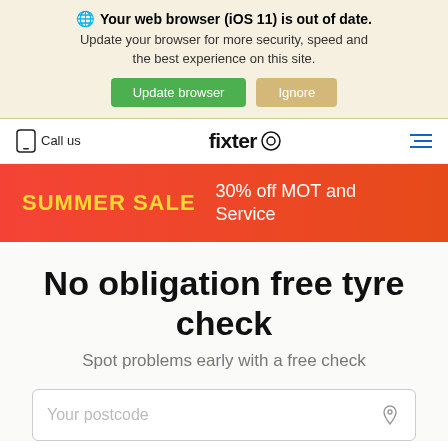Your web browser (iOS 11) is out of date. Update your browser for more security, speed and the best experience on this site.
Update browser | Ignore
Call us | fixter | (menu)
SUMMER SALE 30% off MOT and Service
No obligation free tyre check
Spot problems early with a free check
Your postcode